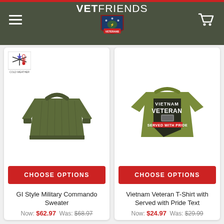VETFRIENDS
[Figure (photo): Olive green GI Style Military Commando Sweater, ribbed knit, crew neck, long sleeves. Cold weather badge in top left corner.]
CHOOSE OPTIONS
GI Style Military Commando Sweater
Now: $62.97  Was: $68.97
[Figure (photo): Olive green Vietnam Veteran T-Shirt with 'VIETNAM VETERAN' text and 'Served With Pride' graphic in black on front.]
CHOOSE OPTIONS
Vietnam Veteran T-Shirt with Served with Pride Text
Now: $24.97  Was: $29.99